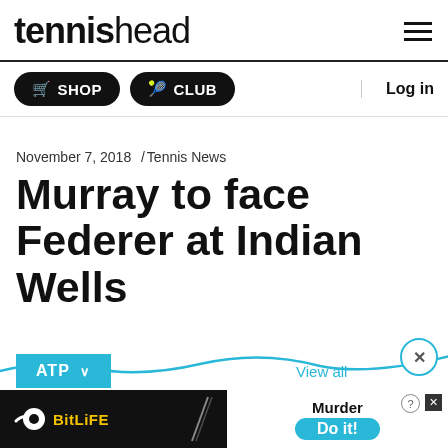tennishead
SHOP   CLUB   Log in
November 7, 2018  /Tennis News
Murray to face Federer at Indian Wells
ATP  View all
[Figure (other): BitLife advertisement banner with 'Murder Do it!' call to action]